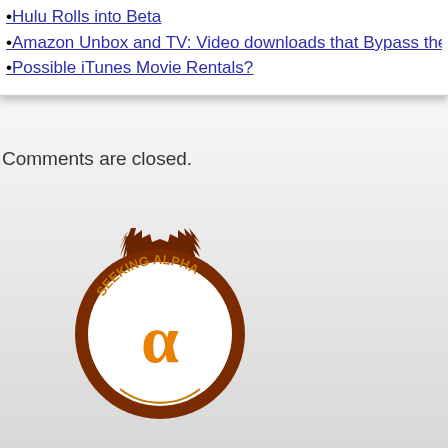•Hulu Rolls into Beta
•Amazon Unbox and TV: Video downloads that Bypass the
•Possible iTunes Movie Rentals?
Comments are closed.
[Figure (logo): Seeking Alpha logo badge - circular brown gear/seal shape with 'SEEKING ALPHA' text and an omega/alpha symbol in orange and white]